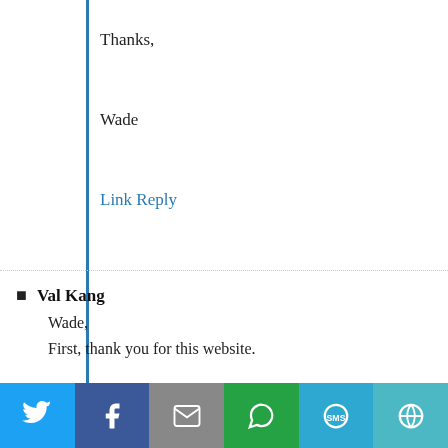Thanks,
Wade
Link Reply
Val Kang
Wade,
First, thank you for this website.